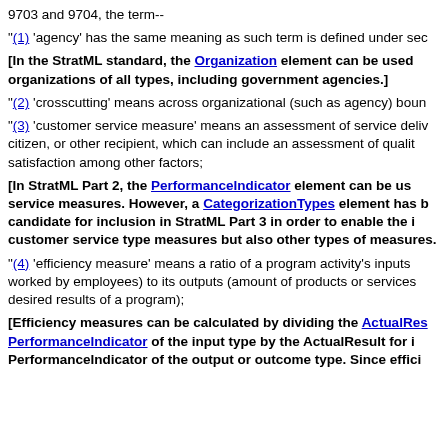9703 and 9704, the term--
"(1) 'agency' has the same meaning as such term is defined under sec
[In the StratML standard, the Organization element can be used organizations of all types, including government agencies.]
"(2) 'crosscutting' means across organizational (such as agency) boun
"(3) 'customer service measure' means an assessment of service deliv citizen, or other recipient, which can include an assessment of qualit satisfaction among other factors;
[In StratML Part 2, the PerformanceIndicator element can be us service measures. However, a CategorizationTypes element has b candidate for inclusion in StratML Part 3 in order to enable the i customer service type measures but also other types of measures.
"(4) 'efficiency measure' means a ratio of a program activity's inputs worked by employees) to its outputs (amount of products or services desired results of a program);
[Efficiency measures can be calculated by dividing the ActualRes PerformanceIndicator of the input type by the ActualResult for i PerformanceIndicator of the output or outcome type. Since effici